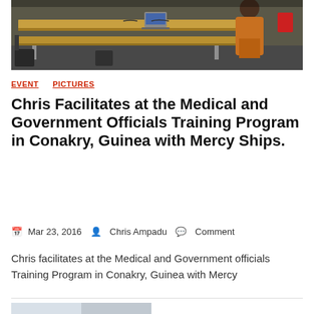[Figure (photo): Conference room scene with long wooden desks, a laptop, and a person in orange/yellow clothing standing at the front of the room]
EVENT   PICTURES
Chris Facilitates at the Medical and Government Officials Training Program in Conakry, Guinea with Mercy Ships.
Mar 23, 2016   Chris Ampadu   Comment
Chris facilitates at the Medical and Government officials Training Program in Conakry, Guinea with Mercy
[Figure (photo): Partial photo visible at bottom of page]